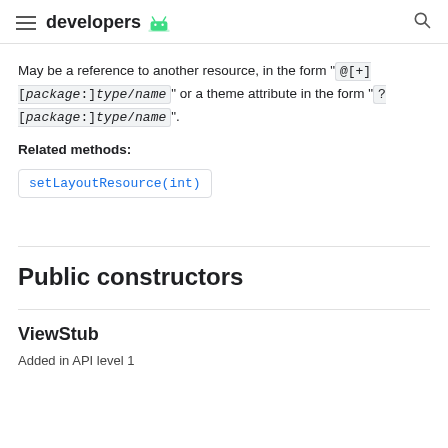developers [Android logo]
May be a reference to another resource, in the form " @[+][package:]type/name" or a theme attribute in the form "?[package:]type/name".
Related methods:
setLayoutResource(int)
Public constructors
ViewStub
Added in API level 1